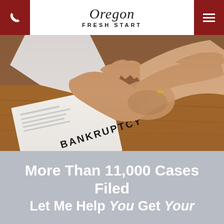Oregon Fresh Start — phone button and menu button
[Figure (photo): Two people shaking hands over a document labeled BANKRUPTCY on a wooden table]
More Than 11,000 Cases Filed
Let Me Help You Get Your